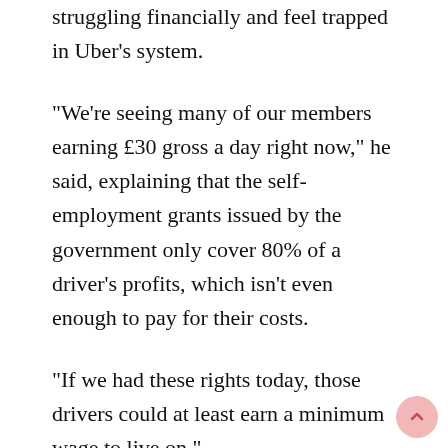struggling financially and feel trapped in Uber's system.
“We’re seeing many of our members earning £30 gross a day right now,” he said, explaining that the self-employment grants issued by the government only cover 80% of a driver’s profits, which isn’t even enough to pay for their costs.
“If we had these rights today, those drivers could at least earn a minimum wage to live on.”
Will we pay more for Uber rides?
That remains to be seen, but it could potentially happen.